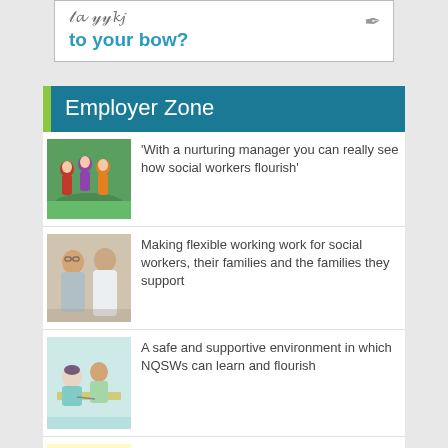[Figure (illustration): Partial banner with cursive text and 'to your bow?' in teal/blue bold text on white background]
Employer Zone
[Figure (photo): Children running outdoors on grass]
'With a nurturing manager you can really see how social workers flourish'
[Figure (photo): Two men standing together, one with glasses]
Making flexible working work for social workers, their families and the families they support
[Figure (photo): People in a meeting or workshop setting, woman writing]
A safe and supportive environment in which NQSWs can learn and flourish
[Figure (photo): Close-up image with a dragon illustration/artwork]
How one council is working to capture the voice of the